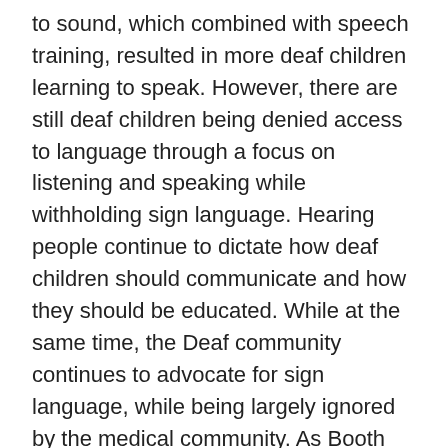to sound, which combined with speech training, resulted in more deaf children learning to speak. However, there are still deaf children being denied access to language through a focus on listening and speaking while withholding sign language. Hearing people continue to dictate how deaf children should communicate and how they should be educated. While at the same time, the Deaf community continues to advocate for sign language, while being largely ignored by the medical community. As Booth notes in her afterword, this advocacy is now supported by evidence of the harmful effects of language deprivation, which she links to her grandfather's experience being denied sign language, and which is an ongoing concern for